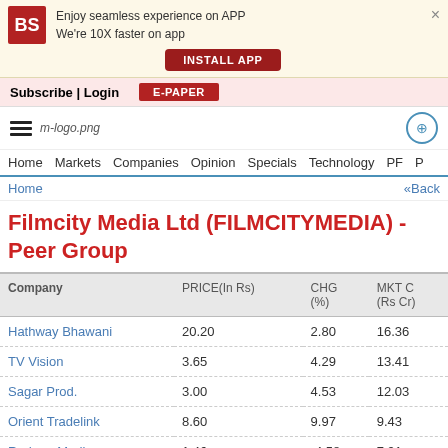[Figure (screenshot): Business Standard app install banner with BS logo, text 'Enjoy seamless experience on APP We're 10X faster on app', INSTALL APP button, and close X]
Subscribe | Login   E-PAPER
[Figure (logo): m-logo.png site logo with hamburger menu and user icon]
Home  Markets  Companies  Opinion  Specials  Technology  PF  P
Home   «Back
Filmcity Media Ltd (FILMCITYMEDIA) - Peer Group
| Company | PRICE(In Rs) | CHG (%) | MKT C (Rs Cr) |
| --- | --- | --- | --- |
| Hathway Bhawani | 20.20 | 2.80 | 16.36 |
| TV Vision | 3.65 | 4.29 | 13.41 |
| Sagar Prod. | 3.00 | 4.53 | 12.03 |
| Orient Tradelink | 8.60 | 9.97 | 9.43 |
| Radaan Media. | 1.46 | -4.58 | 7.91 |